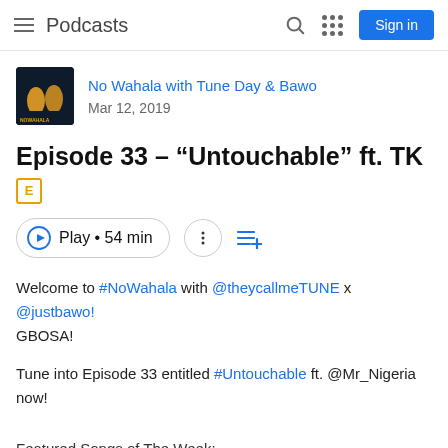Podcasts
No Wahala with Tune Day & Bawo
Mar 12, 2019
Episode 33 - "Untouchable" ft. TK [E]
Play • 54 min
Welcome to #NoWahala with @theycallmeTUNE x @justbawo! GBOSA!

Tune into Episode 33 entitled #Untouchable ft. @Mr_Nigeria now!
Featured Songs of The Week: